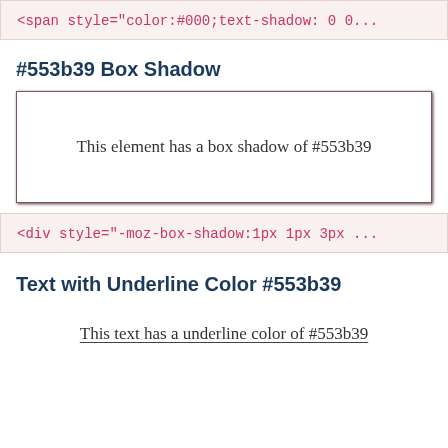<span style="color:#000;text-shadow: 0 0...
#553b39 Box Shadow
This element has a box shadow of #553b39
<div style="-moz-box-shadow:1px 1px 3px ...
Text with Underline Color #553b39
This text has a underline color of #553b39